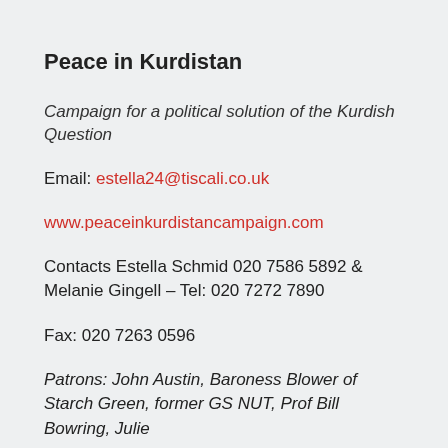Peace in Kurdistan
Campaign for a political solution of the Kurdish Question
Email: estella24@tiscali.co.uk
www.peaceinkurdistancampaign.com
Contacts Estella Schmid 020 7586 5892 & Melanie Gingell – Tel: 020 7272 7890
Fax: 020 7263 0596
Patrons: John Austin, Baroness Blower of Starch Green, former GS NUT, Prof Bill Bowring, Julie